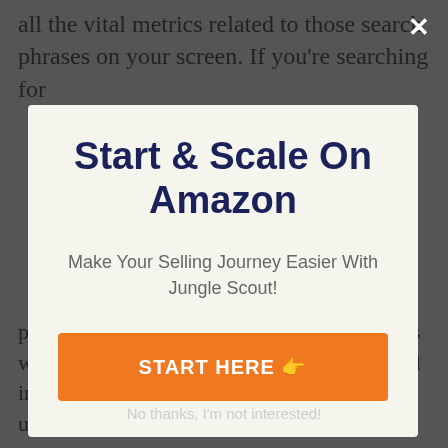all the vital metrics related to those search phrases on your screen. If you're searching for something specific information around the
Start & Scale On Amazon
Make Your Selling Journey Easier With Jungle Scout!
START HERE 👉
promos, the trouble of the keyword phrase, as well as pay per click bid wide. Download and install the checklist in the CSV layout to utilize it later on.
No thanks, I'm not interested!